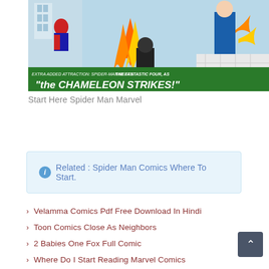[Figure (illustration): Comic book cover showing Spider-Man and the Fantastic Four characters with fire and action scenes. Green banner text reads: EXTRA ADDED ATTRACTION: SPIDER-MAN MEETS THE FANTASTIC FOUR, AS "the CHAMELEON STRIKES!"]
Start Here Spider Man Marvel
Related : Spider Man Comics Where To Start.
Velamma Comics Pdf Free Download In Hindi
Toon Comics Close As Neighbors
2 Babies One Fox Full Comic
Where Do I Start Reading Marvel Comics